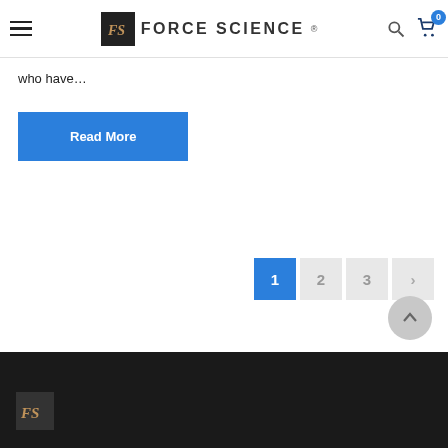Force Science (logo) | navigation header with search and cart
who have…
Read More
Pagination: 1 (active), 2, 3, >
Footer with Force Science logo